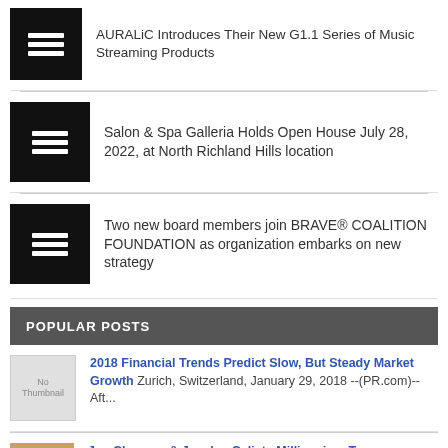AURALiC Introduces Their New G1.1 Series of Music Streaming Products
Salon & Spa Galleria Holds Open House July 28, 2022, at North Richland Hills location
Two new board members join BRAVE® COALITION FOUNDATION as organization embarks on new strategy
POPULAR POSTS
2018 Financial Trends Predict Slow, But Steady Market Growth Zurich, Switzerland, January 29, 2018 --(PR.com)-- Aft...
Joe Clarence & Jocelyn Calista Millionaires Teenagers Entrepreneur Joe Clarence and